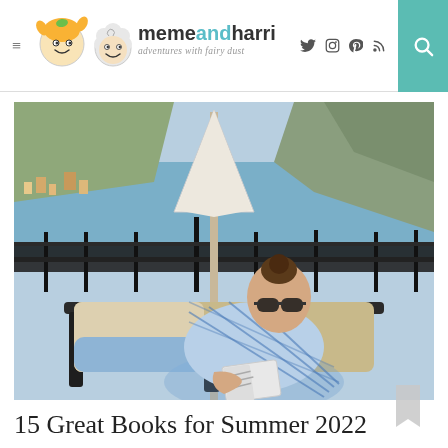memeandharri — adventures with fairy dust
[Figure (photo): Woman wearing sunglasses and a blue plaid shirt reading a book on a sun lounger on a balcony/terrace, with a coastal Mediterranean town, sea, and mountains visible in the background. A white beach umbrella is open behind her.]
15 Great Books for Summer 2022